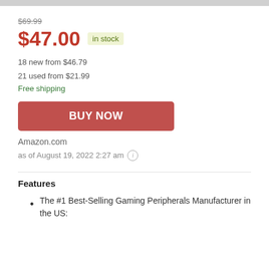$69.99
$47.00  in stock
18 new from $46.79
21 used from $21.99
Free shipping
[Figure (other): BUY NOW button - red rounded rectangle with white bold text]
Amazon.com
as of August 19, 2022 2:27 am
Features
The #1 Best-Selling Gaming Peripherals Manufacturer in the US: